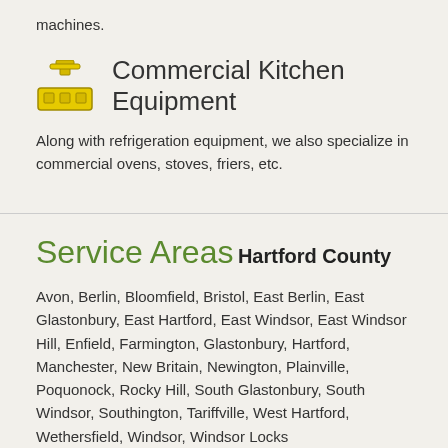machines.
[Figure (illustration): Yellow commercial kitchen equipment icon showing a faucet/tap on top and a counter/equipment unit below, rendered in yellow with dark outlines.]
Commercial Kitchen Equipment
Along with refrigeration equipment, we also specialize in commercial ovens, stoves, friers, etc.
Service Areas
Hartford County
Avon, Berlin, Bloomfield, Bristol, East Berlin, East Glastonbury, East Hartford, East Windsor, East Windsor Hill, Enfield, Farmington, Glastonbury, Hartford, Manchester, New Britain, Newington, Plainville, Poquonock, Rocky Hill, South Glastonbury, South Windsor, Southington, Tariffville, West Hartford, Wethersfield, Windsor, Windsor Locks